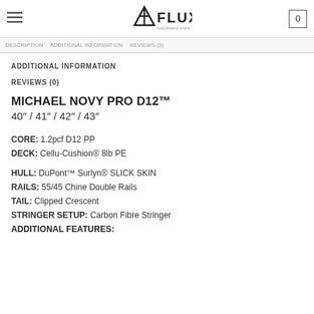FLUX — bodyboard store | 0
ADDITIONAL INFORMATION
REVIEWS (0)
MICHAEL NOVY PRO D12™
40" / 41" / 42" / 43"
CORE: 1.2pcf D12 PP
DECK: Cellu-Cushion® 8lb PE
HULL: DuPont™ Surlyn® SLICK SKIN
RAILS: 55/45 Chine Double Rails
TAIL: Clipped Crescent
STRINGER SETUP: Carbon Fibre Stringer
ADDITIONAL FEATURES: